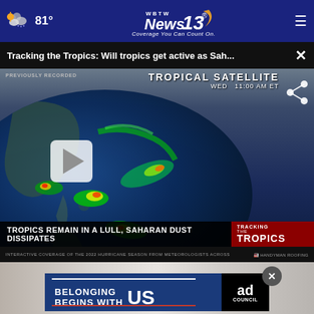81° WBTW News 13 Coverage You Can Count On.
Tracking the Tropics: Will tropics get active as Sah...
[Figure (screenshot): Tropical satellite view showing globe with storm systems over the Atlantic and Gulf. Overlay text reads TROPICAL SATELLITE WED 11:00 AM ET. Bottom caption: TROPICS REMAIN IN A LULL, SAHARAN DUST DISSIPATES with TRACKING THE TROPICS branding. Interactive coverage bar at bottom.]
[Figure (infographic): Advertisement banner showing 'BELONGING BEGINS WITH US' with Ad Council logo on dark blue background.]